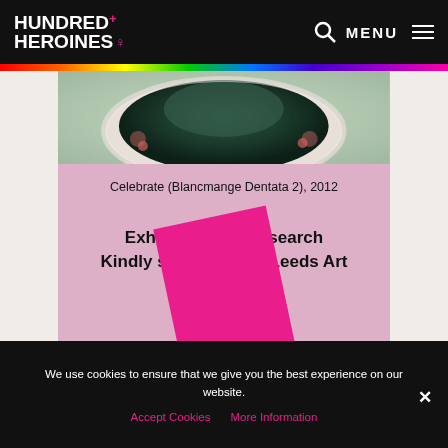HUNDRED+ HEROINES | MENU
[Figure (photo): A photograph of decorative teacup/plate with pink floral design on a pink background, partially cropped]
Celebrate (Blancmange Dentata 2), 2012
Exhibition and Research Kindly supported by Leeds Art University
[Figure (photo): A bright pink rectangular card/paper at an angle on the pink background]
We use cookies to ensure that we give you the best experience on our website.
Accept Cookies   More Information